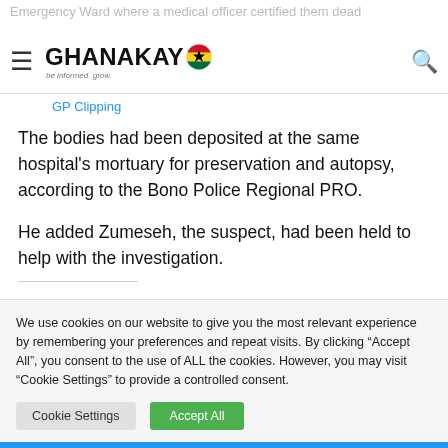Emergency Ward where a medical officer certified them dead — GHANAKAY — GP Clipping
The bodies had been deposited at the same hospital's mortuary for preservation and autopsy, according to the Bono Police Regional PRO.
He added Zumeseh, the suspect, had been held to help with the investigation.
We use cookies on our website to give you the most relevant experience by remembering your preferences and repeat visits. By clicking "Accept All", you consent to the use of ALL the cookies. However, you may visit "Cookie Settings" to provide a controlled consent.